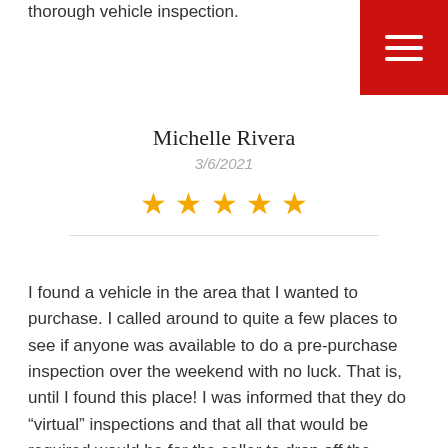thorough vehicle inspection.
Michelle Rivera
3/6/2021
[Figure (other): Five gold star rating icons]
I found a vehicle in the area that I wanted to purchase. I called around to quite a few places to see if anyone was available to do a pre-purchase inspection over the weekend with no luck. That is, until I found this place! I was informed that they do “virtual” inspections and that all that would be required would be for the seller to drop off the vehicle and they would email me the info. They also let me know they could fit me in next day! They were as friendly as could be and the information I received back was excellent. I live in Portland, but wish I lived in the area just so that I could use them as my regular mechanics. Thank you so much for the